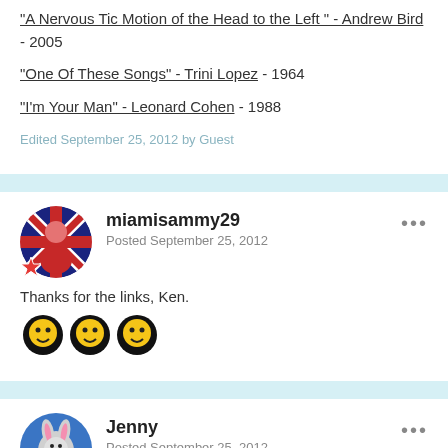"A Nervous Tic Motion of the Head to the Left " - Andrew Bird - 2005
"One Of These Songs" - Trini Lopez - 1964
"I'm Your Man" - Leonard Cohen - 1988
Edited September 25, 2012 by Guest
miamisammy29
Posted September 25, 2012
Thanks for the links, Ken.
[Figure (other): Three afro emoji faces in a row]
Jenny
Posted September 25, 2012